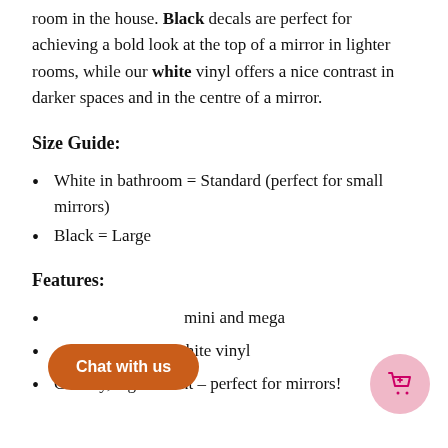room in the house. Black decals are perfect for achieving a bold look at the top of a mirror in lighter rooms, while our white vinyl offers a nice contrast in darker spaces and in the centre of a mirror.
Size Guide:
White in bathroom = Standard (perfect for small mirrors)
Black = Large
Features:
mini and mega
black or white vinyl
Chunky, legible font – perfect for mirrors!